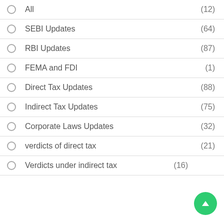All (12)
SEBI Updates (64)
RBI Updates (87)
FEMA and FDI (1)
Direct Tax Updates (88)
Indirect Tax Updates (75)
Corporate Laws Updates (32)
verdicts of direct tax (21)
Verdicts under indirect tax (16)